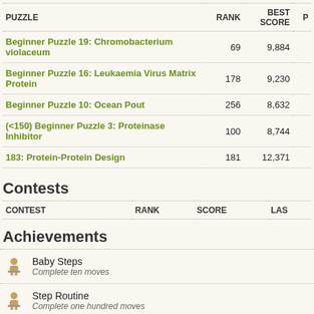| PUZZLE | RANK | BEST SCORE | P |
| --- | --- | --- | --- |
| Beginner Puzzle 19: Chromobacterium violaceum | 69 | 9,884 |  |
| Beginner Puzzle 16: Leukaemia Virus Matrix Protein | 178 | 9,230 |  |
| Beginner Puzzle 10: Ocean Pout | 256 | 8,632 |  |
| (<150) Beginner Puzzle 3: Proteinase Inhibitor | 100 | 8,744 |  |
| 183: Protein-Protein Design | 181 | 12,371 |  |
Contests
| CONTEST | RANK | SCORE | LAS |
| --- | --- | --- | --- |
Achievements
Baby Steps – Complete ten moves
Step Routine – Complete one hundred moves